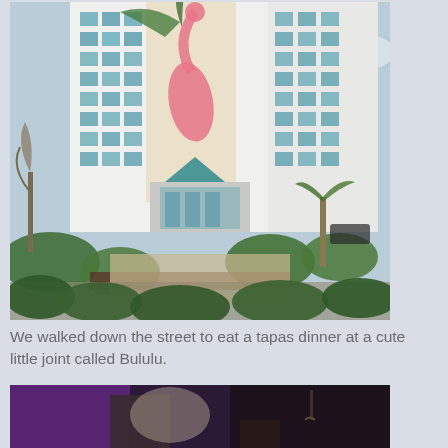[Figure (photo): Exterior photo of a tall white multi-story hotel building with a large flamingo mural painted on the facade, featuring a teal pyramid-roofed entrance, tropical landscaping, and palm trees in the foreground under a partly cloudy sky.]
We walked down the street to eat a tapas dinner at a cute little joint called Bululu.
[Figure (photo): Partially visible photo showing a purple-lit interior scene, possibly a restaurant or bar, with dark furniture and hanging items visible.]